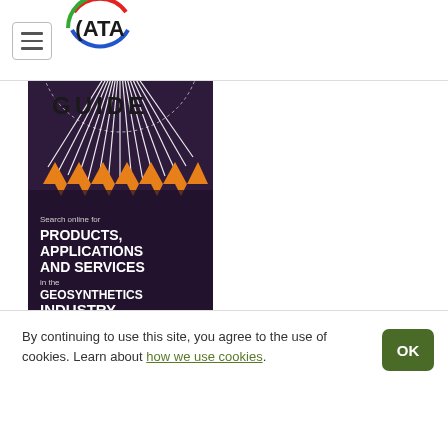[Figure (logo): ATA logo - circular logo with red arc top, blue arc bottom, green arc left, black ATA text in center]
[Figure (illustration): Purple/dark violet banner graphic with decorative radiating white lines and orange triangular chevron pattern at top, partial circular element. Text overlay reads: Search online for PRODUCTS, APPLICATIONS AND SERVICES in the GEOSYNTHETICS INDUSTRY. Partial text 'GUIDE' visible at top.]
By continuing to use this site, you agree to the use of cookies. Learn about how we use cookies.